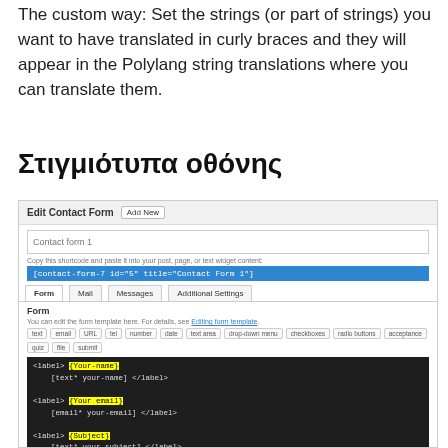The custom way: Set the strings (or part of strings) you want to have translated in curly braces and they will appear in the Polylang string translations where you can translate them.
Στιγμιότυπα οθόνης
[Figure (screenshot): Screenshot of a WordPress Edit Contact Form page showing CF7 form editor with highlighted translation strings {Your-name}, {Your email}, {Subject}, {Your message (optional)}, {Submit} in yellow]